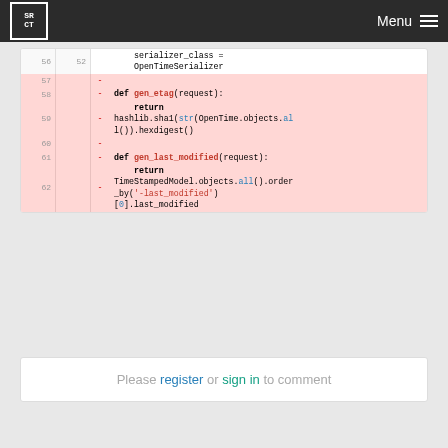SRCT Menu
[Figure (screenshot): Code diff view showing removed lines 57-62 with Python code including gen_etag and gen_last_modified methods]
Please register or sign in to comment